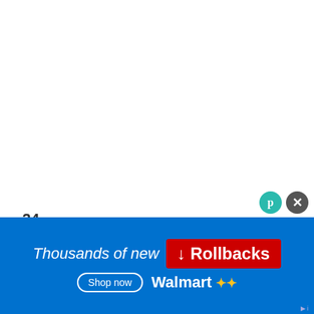24
SHARES
[Figure (infographic): Social share buttons: Facebook (blue), Twitter (light blue), Pinterest (red)]
[Figure (infographic): Heart/like button (teal circle) with count 72, and share icon button]
you are having trouble charging your battery, double-check your power requirements and all the settings.
[Figure (other): What's Next widget with thumbnail image and text: WHAT'S NEXT → 4 Ways to Charge Son...]
Officially Sony says that this is it...
[Figure (infographic): Walmart advertisement banner: Thousands of new ↓ Rollbacks, Shop now, Walmart logo]